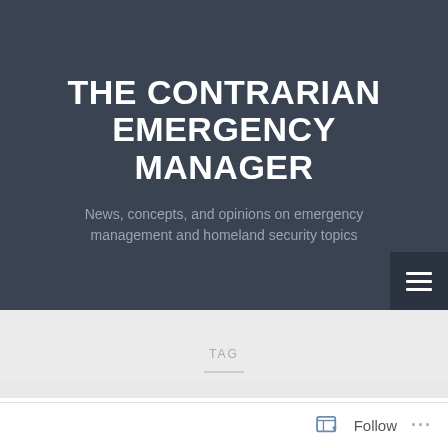THE CONTRARIAN EMERGENCY MANAGER
News, concepts, and opinions on emergency management and homeland security topics
TAG
HSEEP
[Figure (screenshot): Dark image strip showing what appears to be people in a room, used as a thumbnail preview for a blog post]
Follow